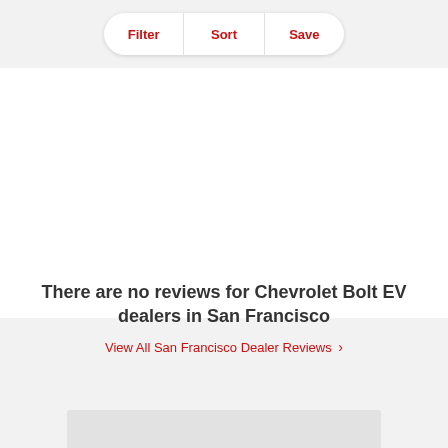[Figure (screenshot): Filter/Sort/Save tab bar with rounded pill shape on gray background]
There are no reviews for Chevrolet Bolt EV dealers in San Francisco
View All San Francisco Dealer Reviews ›
[Figure (other): Gray rectangle at the bottom of the page]